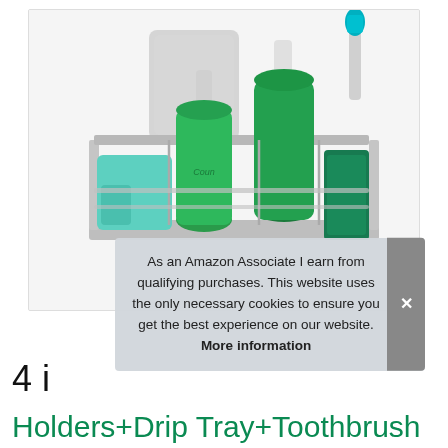[Figure (photo): A stainless steel kitchen sink organizer caddy holding green dish soap bottles, a teal sponge, a green cloth, and a toothbrush. The caddy is mounted on a wall-mounted adhesive hook against a white background.]
As an Amazon Associate I earn from qualifying purchases. This website uses the only necessary cookies to ensure you get the best experience on our website. More information
4 i
Holders+Drip Tray+Toothbrush